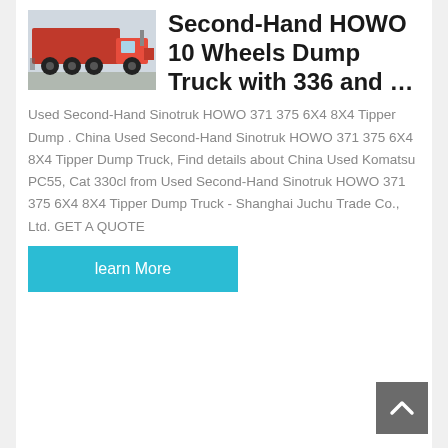[Figure (photo): Red HOWO dump truck photographed from the side/rear, showing the red cargo bed and wheels on a paved surface.]
Second-Hand HOWO 10 Wheels Dump Truck with 336 and …
Used Second-Hand Sinotruk HOWO 371 375 6X4 8X4 Tipper Dump . China Used Second-Hand Sinotruk HOWO 371 375 6X4 8X4 Tipper Dump Truck, Find details about China Used Komatsu PC55, Cat 330cl from Used Second-Hand Sinotruk HOWO 371 375 6X4 8X4 Tipper Dump Truck - Shanghai Juchu Trade Co., Ltd. GET A QUOTE
learn More
[Figure (other): Back-to-top button: dark gray square with white upward-pointing chevron arrow.]